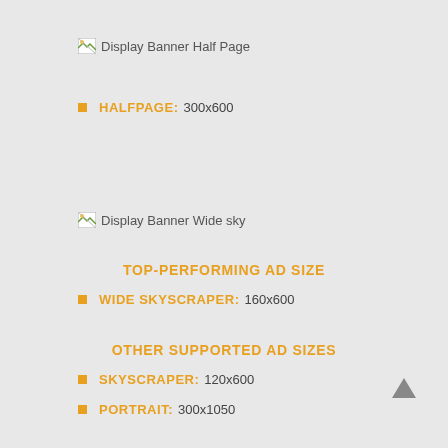[Figure (other): Broken image placeholder labeled 'Display Banner Half Page']
HALFPAGE: 300x600
[Figure (other): Broken image placeholder labeled 'Display Banner Wide sky']
TOP-PERFORMING AD SIZE
WIDE SKYSCRAPER: 160x600
OTHER SUPPORTED AD SIZES
SKYSCRAPER: 120x600
PORTRAIT: 300x1050